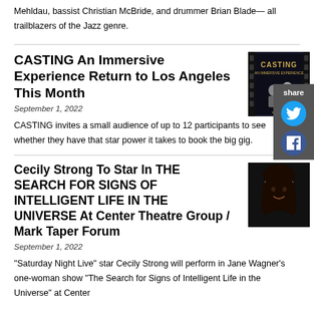Mehldau, bassist Christian McBride, and drummer Brian Blade— all trailblazers of the Jazz genre.
CASTING An Immersive Experience Return to Los Angeles This Month
September 1, 2022
[Figure (photo): CASTING An Immersive Experience promotional poster/image]
[Figure (infographic): Share sidebar with Twitter and Facebook icons]
CASTING invites a small audience of up to 12 participants to see whether they have that star power it takes to book the big gig.
Cecily Strong To Star In THE SEARCH FOR SIGNS OF INTELLIGENT LIFE IN THE UNIVERSE At Center Theatre Group / Mark Taper Forum
September 1, 2022
[Figure (photo): Headshot of Cecily Strong smiling, dark background]
"Saturday Night Live" star Cecily Strong will perform in Jane Wagner's one-woman show "The Search for Signs of Intelligent Life in the Universe" at Center